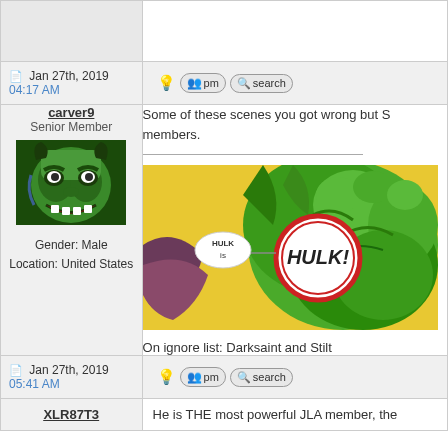Jan 27th, 2019 04:17 AM
carver9
Senior Member
Gender: Male
Location: United States
Some of these scenes you got wrong but S members.
[Figure (illustration): Comic book image of The Hulk with a speech bubble saying 'HULK IS HULK!']
On ignore list: Darksaint and Stilt
Jan 27th, 2019 05:41 AM
XLR87T3
He is THE most powerful JLA member, the